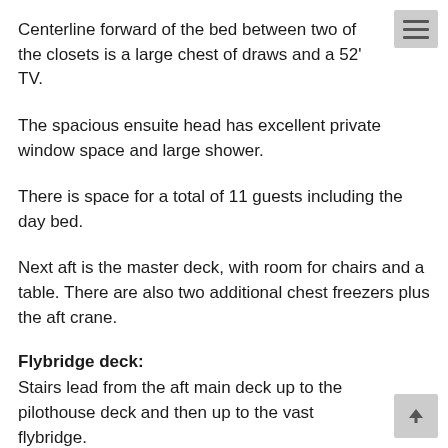Centerline forward of the bed between two of the closets is a large chest of draws and a 52' TV.
The spacious ensuite head has excellent private window space and large shower.
There is space for a total of 11 guests including the day bed.
Next aft is the master deck, with room for chairs and a table. There are also two additional chest freezers plus the aft crane.
Flybridge deck:
Stairs lead from the aft main deck up to the pilothouse deck and then up to the vast flybridge.